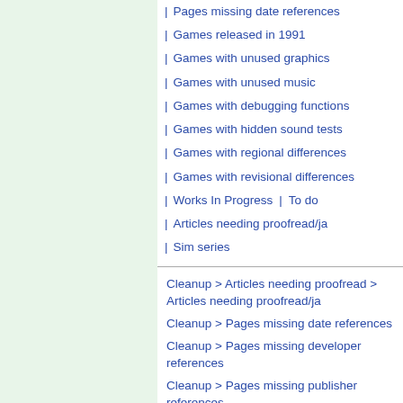Pages missing date references
Games released in 1991
Games with unused graphics
Games with unused music
Games with debugging functions
Games with hidden sound tests
Games with regional differences
Games with revisional differences
Works In Progress | To do
Articles needing proofread/ja
Sim series
Cleanup > Articles needing proofread > Articles needing proofread/ja
Cleanup > Pages missing date references
Cleanup > Pages missing developer references
Cleanup > Pages missing publisher references